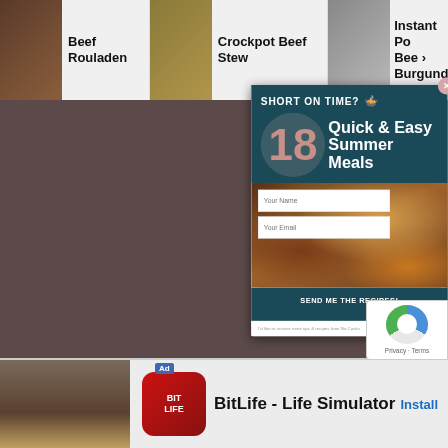[Figure (screenshot): Recipe website screenshot showing a popup modal over a food blog page. Top bar shows recipe card links for Beef Rouladen, Crockpot Beef Stew, and Instant Pot Beef Burgundy. A popup overlay reads 'SHORT ON TIME?' with a pot icon, '18 Quick & Easy Summer Meals', fields for Your Name and Your Email, a 'SEND ME THE RECIPES!' button, and disclaimer text. Bottom shows a BitLife ad.]
Beef Rouladen
Crockpot Beef Stew
Instant Pot Beef Burgundy
SHORT ON TIME? 🍲
18 Quick & Easy Summer Meals
Your Name
Your Email
SEND ME THE RECIPES!
I'd like to receive more tips & recipes from No Cooks
852
BitLife - Life Simulator
Install